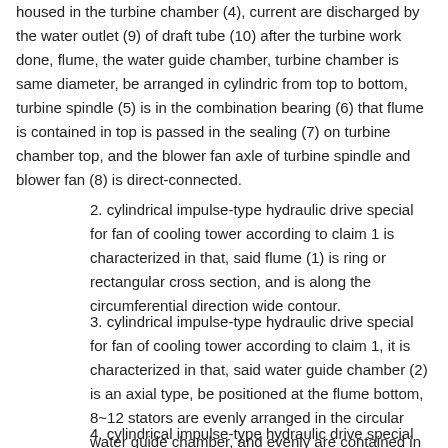housed in the turbine chamber (4), current are discharged by the water outlet (9) of draft tube (10) after the turbine work done, flume, the water guide chamber, turbine chamber is same diameter, be arranged in cylindric from top to bottom, turbine spindle (5) is in the combination bearing (6) that flume is contained in top is passed in the sealing (7) on turbine chamber top, and the blower fan axle of turbine spindle and blower fan (8) is direct-connected.
2. cylindrical impulse-type hydraulic drive special for fan of cooling tower according to claim 1 is characterized in that, said flume (1) is ring or rectangular cross section, and is along the circumferential direction wide contour.
3. cylindrical impulse-type hydraulic drive special for fan of cooling tower according to claim 1, it is characterized in that, said water guide chamber (2) is an axial type, be positioned at the flume bottom, 8~12 stators are evenly arranged in the circular water guide chamber, and evenly are contained in ringwise on the circle ring inner wall of flume (1) bottom.
4. cylindrical impulse-type hydraulic drive special for fan of cooling tower according to claim 1 is characterized in that,